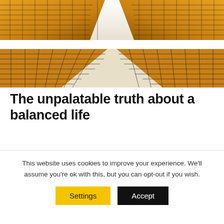[Figure (photo): Two architectural photographs of modern glass skyscrapers with grid-patterned facades, viewed from below looking up. The images are mirrored — the top image shows the tops of buildings with golden reflections, and the bottom shows the bases with the same golden glass grid pattern against a white sky.]
The unpalatable truth about a balanced life
Many of us aspire to lead a 'balanced life', but do you
This website uses cookies to improve your experience. We'll assume you're ok with this, but you can opt-out if you wish.
Settings
Accept